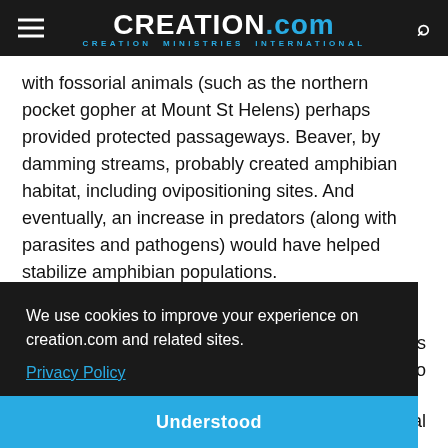CREATION.com — CREATION MINISTRIES INTERNATIONAL
with fossorial animals (such as the northern pocket gopher at Mount St Helens) perhaps provided protected passageways. Beaver, by damming streams, probably created amphibian habitat, including ovipositioning sites. And eventually, an increase in predators (along with parasites and pathogens) would have helped stabilize amphibian populations.
We use cookies to improve your experience on creation.com and related sites. Privacy Policy
Understood